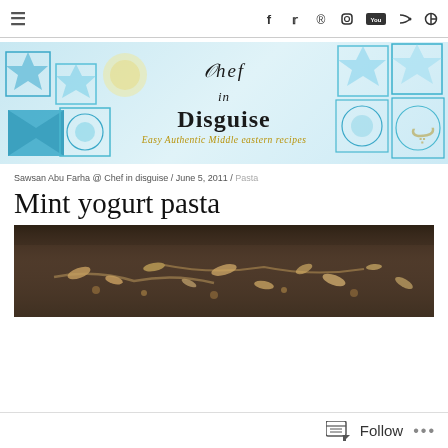≡  f  t  p  (instagram)  (youtube)  (rss)  (search)
[Figure (logo): Chef in Disguise blog banner with Arabic/Middle-Eastern tile decorations in blue and teal. Script text 'Chef in Disguise' with tagline 'Easy Authentic Middle eastern recipes']
Sawsan Abu Farha @ Chef in disguise / June 5, 2011 / Pasta
Mint yogurt pasta
[Figure (photo): Overhead photo of pasta dish with nuts/toppings on a dark background, likely the mint yogurt pasta recipe]
Follow  •••